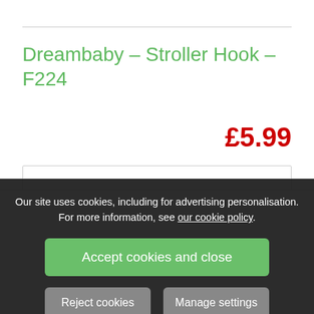Dreambaby – Stroller Hook – F224
£5.99
Our site uses cookies, including for advertising personalisation. For more information, see our cookie policy.
Accept cookies and close
Reject cookies
Manage settings